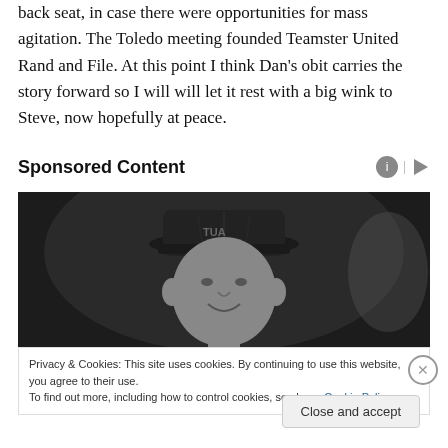back seat, in case there were opportunities for mass agitation. The Toledo meeting founded Teamster United Rand and File. At this point I think Dan's obit carries the story forward so I will will let it rest with a big wink to Steve, now hopefully at peace.
Sponsored Content
[Figure (photo): Black and white photo of a young man wearing a cap, smiling, against a dark background]
Privacy & Cookies: This site uses cookies. By continuing to use this website, you agree to their use.
To find out more, including how to control cookies, see here: Cookie Policy
Close and accept